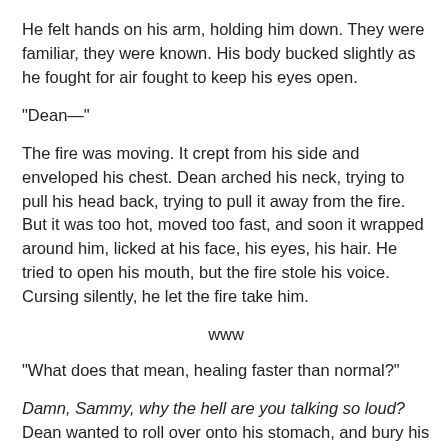He felt hands on his arm, holding him down. They were familiar, they were known. His body bucked slightly as he fought for air fought to keep his eyes open.
"Dean—"
The fire was moving. It crept from his side and enveloped his chest. Dean arched his neck, trying to pull his head back, trying to pull it away from the fire. But it was too hot, moved too fast, and soon it wrapped around him, licked at his face, his eyes, his hair. He tried to open his mouth, but the fire stole his voice. Cursing silently, he let the fire take him.
www
"What does that mean, healing faster than normal?"
Damn, Sammy, why the hell are you talking so loud? Dean wanted to roll over onto his stomach, and bury his head under his pillow, shutting out Sam's voice and… what the hell was that smell? Patchouli? He started to move and was stopped by an instant shot of pain in the arm, his instant realizing that that the air in the bed had...